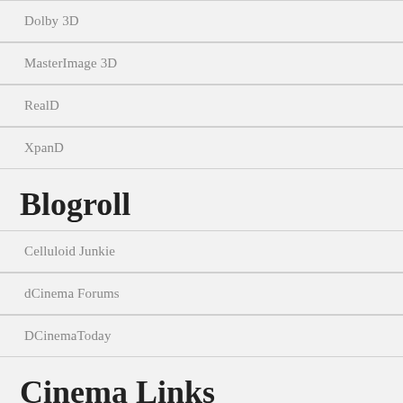Dolby 3D
MasterImage 3D
RealD
XpanD
Blogroll
Celluloid Junkie
dCinema Forums
DCinemaToday
Cinema Links
Barco
Christie Digital
Cinecert
DCI file naming Spec